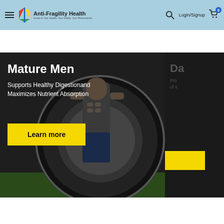[Figure (screenshot): Anti-Fragility Health website header with hamburger menu, logo, search icon, Login/Signup text, and cart with 0 badge on light blue background]
[Figure (photo): Banner image showing a muscular man holding a large tractor tire, dark background, with text overlay: Mature Men, Supports Healthy Digestion and Maximizes Nutrient Absorption, and a yellow Learn more button]
[Figure (photo): Partially visible second banner on the right side with dark background, truncated text starting with 'Da' and a yellow button]